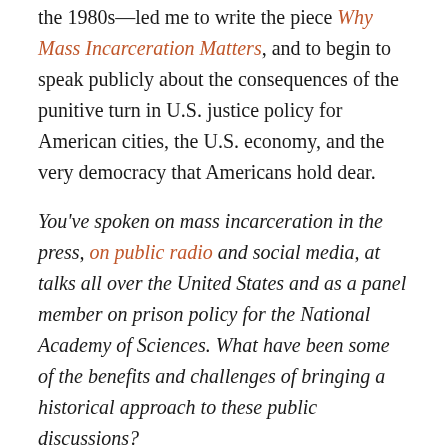the 1980s—led me to write the piece Why Mass Incarceration Matters, and to begin to speak publicly about the consequences of the punitive turn in U.S. justice policy for American cities, the U.S. economy, and the very democracy that Americans hold dear.
You've spoken on mass incarceration in the press, on public radio and social media, at talks all over the United States and as a panel member on prison policy for the National Academy of Sciences. What have been some of the benefits and challenges of bringing a historical approach to these public discussions?
Again, as a historian, getting the opportunity to speak publicly and to write for popular publications was